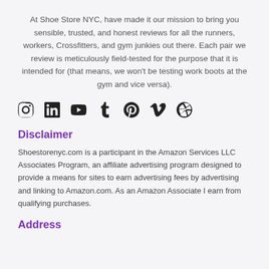At Shoe Store NYC, have made it our mission to bring you sensible, trusted, and honest reviews for all the runners, workers, Crossfitters, and gym junkies out there. Each pair we review is meticulously field-tested for the purpose that it is intended for (that means, we won't be testing work boots at the gym and vice versa).
[Figure (other): Social media icons row: Instagram, LinkedIn, YouTube, Tumblr, Pinterest, Vimeo, Dribbble]
Disclaimer
Shoestorenyc.com is a participant in the Amazon Services LLC Associates Program, an affiliate advertising program designed to provide a means for sites to earn advertising fees by advertising and linking to Amazon.com. As an Amazon Associate I earn from qualifying purchases.
Address